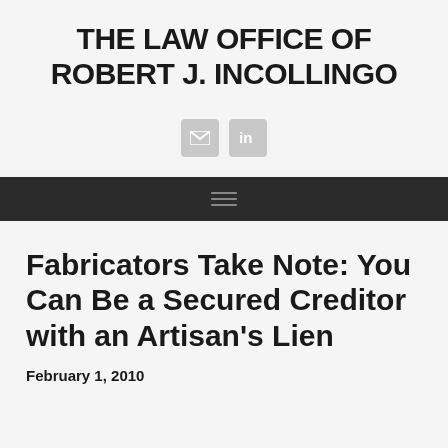THE LAW OFFICE OF ROBERT J. INCOLLINGO
[Figure (other): Two social media icon buttons: an email/envelope icon and a LinkedIn icon, both in grey rounded square boxes]
[Figure (other): Dark navigation bar with hamburger menu icon (three horizontal lines)]
Fabricators Take Note: You Can Be a Secured Creditor with an Artisan's Lien
February 1, 2010